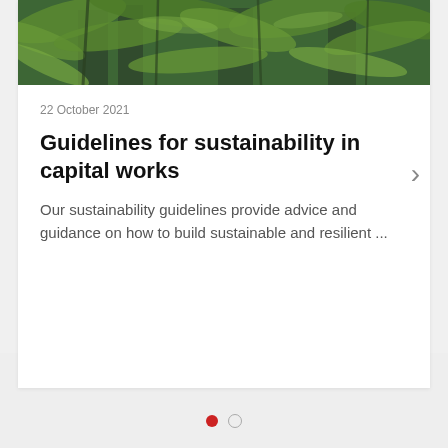[Figure (photo): Photograph of lush green tropical plants and ferns, viewed from below looking up, with building structures visible between the foliage.]
22 October 2021
Guidelines for sustainability in capital works
Our sustainability guidelines provide advice and guidance on how to build sustainable and resilient ...